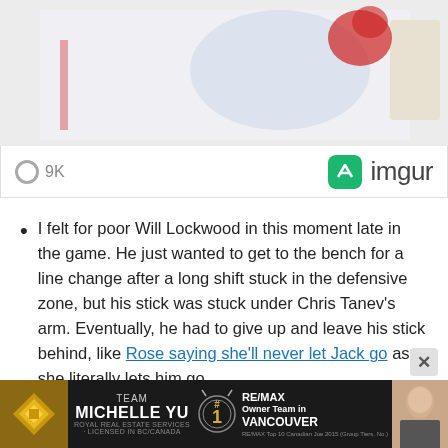[Figure (photo): Hockey game photo showing a player near the net, wearing a red jersey with number 52, partially visible]
9K
[Figure (logo): imgur logo - green rounded square icon with arrow, and imgur text]
I felt for poor Will Lockwood in this moment late in the game. He just wanted to get to the bench for a line change after a long shift stuck in the defensive zone, but his stick was stuck under Chris Tanev's arm. Eventually, he had to give up and leave his stick behind, like Rose saying she'll never let Jack go as she literally lets him go.
[Figure (photo): Advertisement banner for Team Michelle Yu, RE/MAX Owner Team in Vancouver, #1 designation with gold medallion, photo of Michelle Yu]